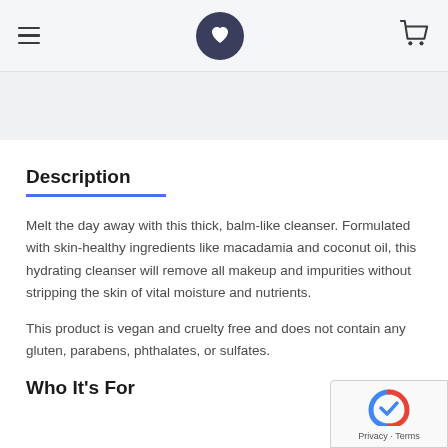[Navigation header with hamburger menu, logo icon, and cart icon]
Description
Melt the day away with this thick, balm-like cleanser. Formulated with skin-healthy ingredients like macadamia and coconut oil, this hydrating cleanser will remove all makeup and impurities without stripping the skin of vital moisture and nutrients.
This product is vegan and cruelty free and does not contain any gluten, parabens, phthalates, or sulfates.
Who It's For